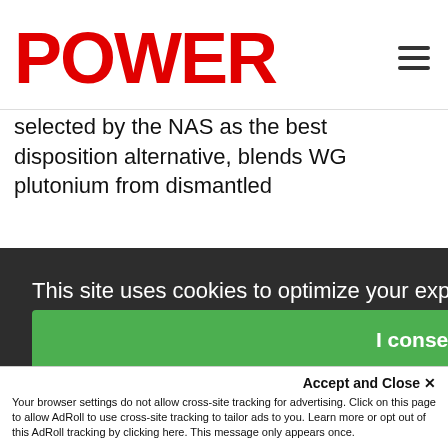POWER
selected by the NAS as the best disposition alternative, blends WG plutonium from dismantled
uct
OX)
The
This site uses cookies to optimize your experience including more relevant content and messaging. To learn more about disabling cookies in your browser, click here.  By continuing to use this site, you accept our use of cookies. For more information, view our updated Privacy Policy.
I consent
Accept and Close ✕
Your browser settings do not allow cross-site tracking for advertising. Click on this page to allow AdRoll to use cross-site tracking to tailor ads to you. Learn more or opt out of this AdRoll tracking by clicking here. This message only appears once.